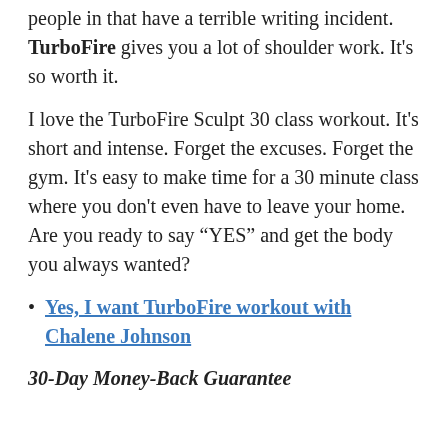people in that have a terrible writing incident. TurboFire gives you a lot of shoulder work. It's so worth it.
I love the TurboFire Sculpt 30 class workout. It's short and intense. Forget the excuses. Forget the gym. It's easy to make time for a 30 minute class where you don't even have to leave your home. Are you ready to say “YES” and get the body you always wanted?
Yes, I want TurboFire workout with Chalene Johnson
30-Day Money-Back Guarantee